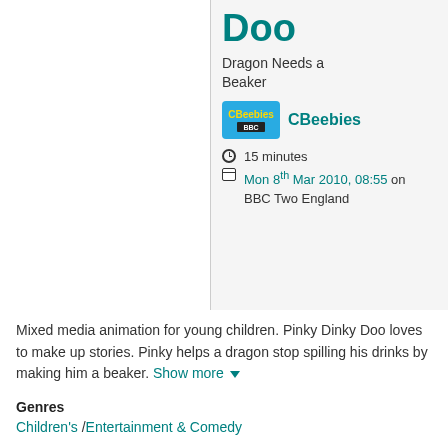Doo
Dragon Needs a Beaker
[Figure (logo): CBeebies logo — blue rounded rectangle with yellow CBeebies text and BBC bar below]
CBeebies
15 minutes
Mon 8th Mar 2010, 08:55 on BBC Two England
Mixed media animation for young children. Pinky Dinky Doo loves to make up stories. Pinky helps a dragon stop spilling his drinks by making him a beaker. Show more
Genres
Children's / Entertainment & Comedy
Formats